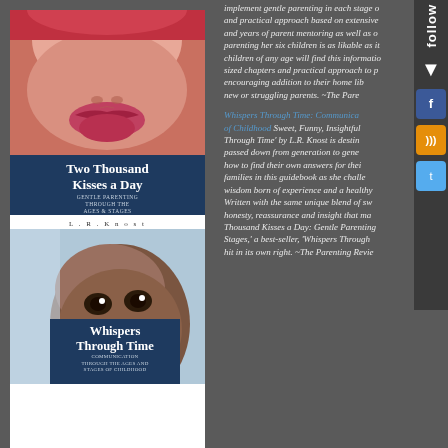[Figure (illustration): Book cover of 'Two Thousand Kisses a Day: Gentle Parenting Through the Ages & Stages' by L.R. Knost, showing close-up of baby face with red head covering, dark navy title box, and author name.]
[Figure (illustration): Book cover of 'Whispers Through Time: Communication Through the Ages and Stages of Childhood' showing a dark-skinned baby/toddler looking upward, with dark navy title overlay box.]
implement gentle parenting in each stage of and practical approach based on extensive and years of parent mentoring as well as o parenting her six children is as likable as it children of any age will find this information sized chapters and practical approach to pa encouraging addition to their home lib new or struggling parents. ~The Pare
[Figure (infographic): Follow sidebar with vertical text 'follow', downward arrow, and three social media icons: Facebook (f), RSS, and Twitter (t)]
Whispers Through Time: Communication Through the Ages and Stages of Childhood Sweet, Funny, Insightful... 'Whispers Through Time' by L.R. Knost is destined to be passed down from generation to generation...how to find their own answers for their families in this guidebook as she challenges wisdom born of experience and a healthy dose...Written with the same unique blend of sweetness, honesty, reassurance and insight that made 'Two Thousand Kisses a Day: Gentle Parenting Through the Ages and Stages,' a best-seller, 'Whispers Through Time' is a hit in its own right. ~The Parenting Review